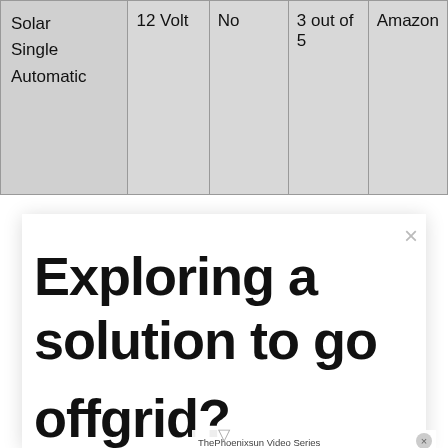| Solar
Single
Automatic | 12 Volt | No | 3 out of 5 | Amazon |
[Figure (screenshot): White modal overlay with large bold heading text 'Exploring a solution to go off-grid?' partially visible, with a close X button. A video popup overlay from 'ThePhoenixsun Video Series' is shown with text 'No compatible source was found for this media.' and a gradient background showing 'Education Video Coming Soon' with a person's face visible.]